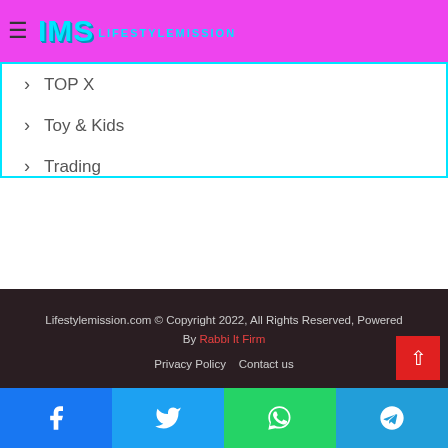IMS LIFESTYLEMISSION
TOP X
Toy & Kids
Trading
Travel
Walpaper
Wedding
Lifestylemission.com © Copyright 2022, All Rights Reserved, Powered By Rabbi It Firm
Privacy Policy   Contact us